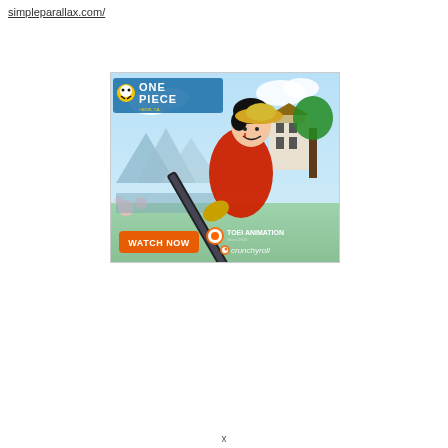simpleparallax.com/
[Figure (illustration): One Piece anime advertisement banner featuring Monkey D. Luffy in a red kimono holding a large sword/scabbard, with the One Piece logo at the top left, a Japanese castle and cherry blossom scenery in the background, a 'WATCH NOW' orange button at the bottom left, and Toei Animation and Crunchyroll logos at the bottom right.]
x